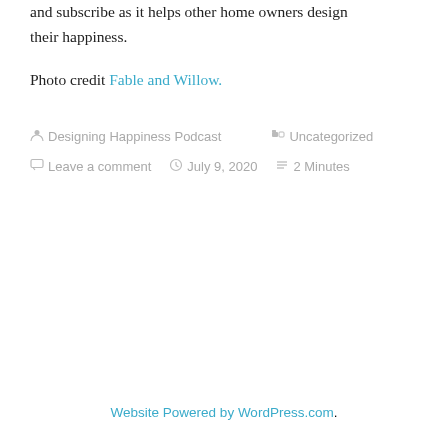and subscribe as it helps other home owners design their happiness.
Photo credit Fable and Willow.
Designing Happiness Podcast   Uncategorized   Leave a comment   July 9, 2020   2 Minutes
Website Powered by WordPress.com.